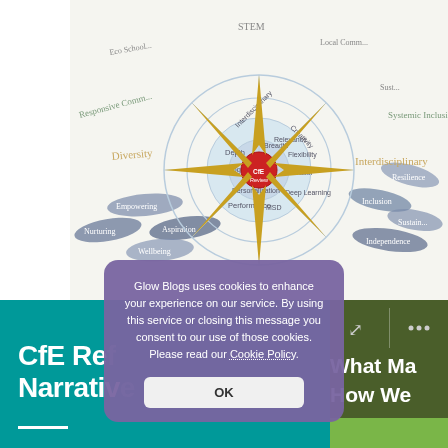[Figure (illustration): A hand-drawn compass rose diagram on white paper with circular rings labeled with educational concepts such as STEM, Eco Schools, Depth, Progress, Performance, Personal Achievement, Wellbeing, Aspiration, Empowering, Nurturing, Interdisciplinary, Creativity, along with fish-shaped labels floating around the compass.]
CfE Re... Narrativ...
What Ma... How We...
Glow Blogs uses cookies to enhance your experience on our service. By using this service or closing this message you consent to our use of those cookies. Please read our Cookie Policy.
OK